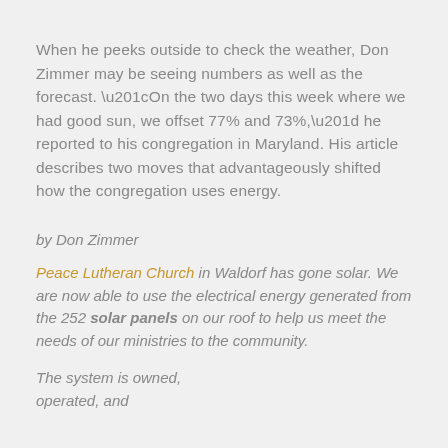When he peeks outside to check the weather, Don Zimmer may be seeing numbers as well as the forecast. “On the two days this week where we had good sun, we offset 77% and 73%,” he reported to his congregation in Maryland. His article describes two moves that advantageously shifted how the congregation uses energy.
by Don Zimmer
Peace Lutheran Church in Waldorf has gone solar. We are now able to use the electrical energy generated from the 252 solar panels on our roof to help us meet the needs of our ministries to the community.
The system is owned, operated, and